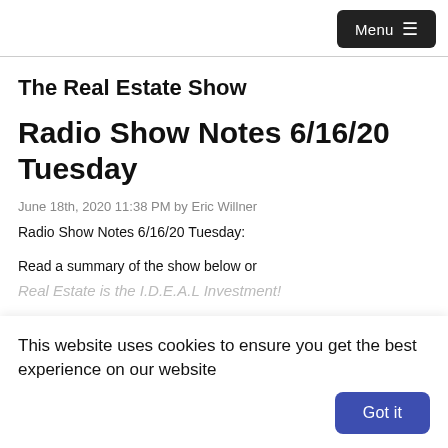Menu ☰
The Real Estate Show
Radio Show Notes 6/16/20 Tuesday
June 18th, 2020 11:38 PM by Eric Willner
Radio Show Notes 6/16/20 Tuesday:
Read a summary of the show below or
This website uses cookies to ensure you get the best experience on our website
Got it
Real Estate is the I.D.E.A.L Investment!